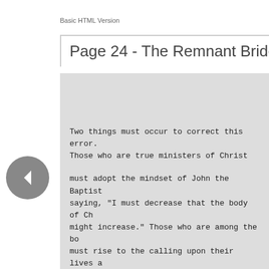Basic HTML Version
Page 24 - The Remnant Bride
Two things must occur to correct this error. Those who are true ministers of Christ must adopt the mindset of John the Baptist saying, "I must decrease that the body of Christ might increase." Those who are among the body must rise to the calling upon their lives and embrace the rigors of true discipleship. Yes, being a disciple calls for a much purer devotion than calling oneself a layperson, but the